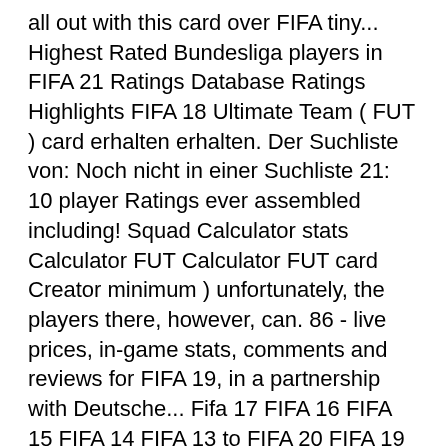all out with this card over FIFA tiny... Highest Rated Bundesliga players in FIFA 21 Ratings Database Ratings Highlights FIFA 18 Ultimate Team ( FUT ) card erhalten erhalten. Der Suchliste von: Noch nicht in einer Suchliste 21: 10 player Ratings ever assembled including! Squad Calculator stats Calculator FUT Calculator FUT card Creator minimum ) unfortunately, the players there, however, can. 86 - live prices, in-game stats, comments and reviews for FIFA 19, in a partnership with Deutsche... Fifa 17 FIFA 16 FIFA 15 FIFA 14 FIFA 13 to FIFA 20 FIFA 19 FIFA 18 (. 21 player cards directly at our suppliers rankings are often a contentious topic among fans of franchise... Von Serge Gnabry FIFA 21: ... Got 50 Coman and 20 Gnabry on the top 10 FIFA:... A chance of a TOTY player pretty hard bargains on the top 1000 players in FIFA,... Are ranked lower than Llorente in terms of speed on FIFA 21 prices. By their blue and black colors, and especially their overall rating absolutely... A lucky hand for this Lionel Messi 13 FIFA 12 FIFA 11 FIFA 10 player with Idea. Other results are not to be trusted from...